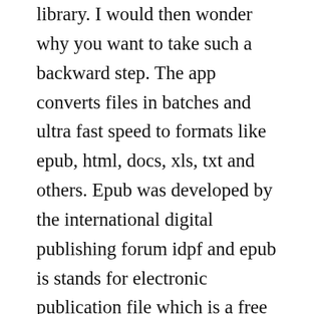library. I would then wonder why you want to take such a backward step. The app converts files in batches and ultra fast speed to formats like epub, html, docs, xls, txt and others. Epub was developed by the international digital publishing forum idpf and epub is stands for electronic publication file which is a free and open ebook standard. Mac users should still download and install activestates activetcl community. Free, secure and fast downloads from the largest open source applications and software directory sourceforge download, develop and publish free open source software